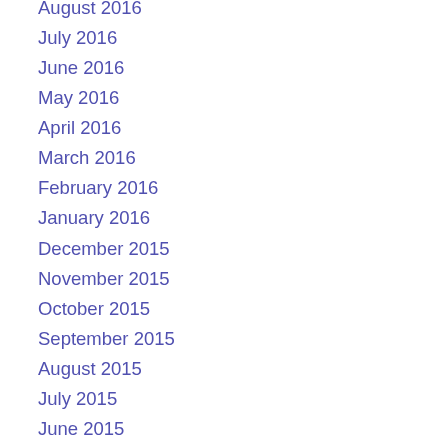August 2016
July 2016
June 2016
May 2016
April 2016
March 2016
February 2016
January 2016
December 2015
November 2015
October 2015
September 2015
August 2015
July 2015
June 2015
May 2015
April 2015
March 2015
February 2015
January 2015